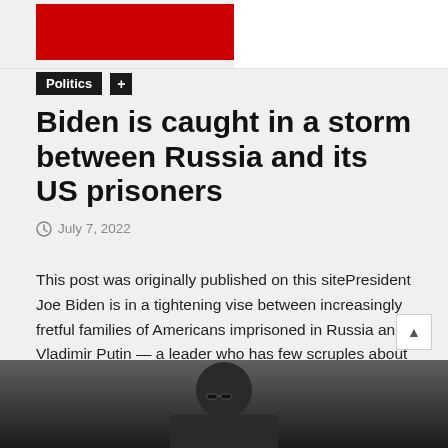[Figure (other): Top banner with red rectangle block on white/grey background]
Politics +
Biden is caught in a storm between Russia and its US prisoners
July 7, 2022
This post was originally published on this sitePresident Joe Biden is in a tightening vise between increasingly fretful families of Americans imprisoned in Russia and Vladimir Putin — a leader who has few scruples about using civilians to grind out his political goals.
READ MORE
[Figure (photo): Partial photo of a person wearing glasses, dark toned image, cropped at bottom of page]